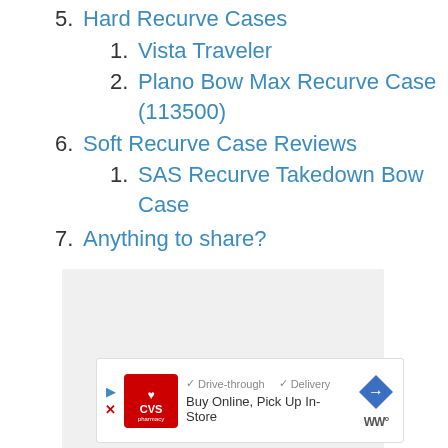5. Hard Recurve Cases
1. Vista Traveler
2. Plano Bow Max Recurve Case (113500)
6. Soft Recurve Case Reviews
1. SAS Recurve Takedown Bow Case
7. Anything to share?
[Figure (other): Light gray placeholder content box with three small dots centered near the bottom]
[Figure (other): CVS Pharmacy advertisement banner with drive-through, delivery, and buy online pick up in-store options, navigation icon, and WW logo]